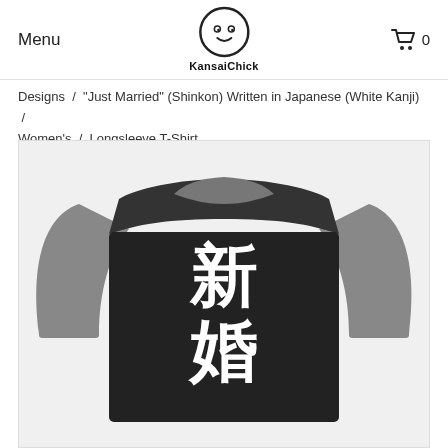Menu  KansaiChick  0
Designs / "Just Married" (Shinkon) Written in Japanese (White Kanji) / Women's / Longsleeve T-Shirt
[Figure (photo): A raglan longsleeve t-shirt with gray sleeves and black body, featuring white Japanese kanji characters 新婚 (shinkon, meaning just married) on the front.]